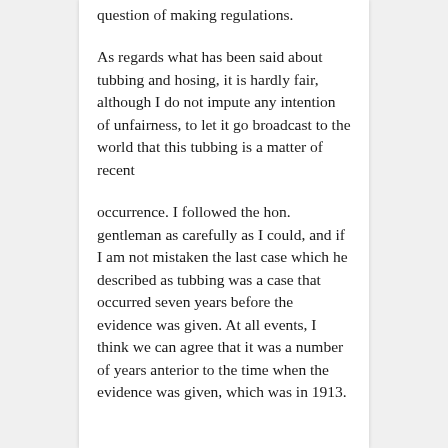question of making regulations.
As regards what has been said about tubbing and hosing, it is hardly fair, although I do not impute any intention of unfairness, to let it go broadcast to the world that this tubbing is a matter of recent
occurrence. I followed the hon. gentleman as carefully as I could, and if I am not mistaken the last case which he described as tubbing was a case that occurred seven years before the evidence was given. At all events, I think we can agree that it was a number of years anterior to the time when the evidence was given, which was in 1913.